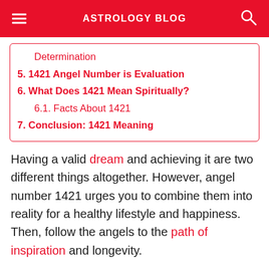ASTROLOGY BLOG
Determination
5. 1421 Angel Number is Evaluation
6. What Does 1421 Mean Spiritually?
6.1. Facts About 1421
7. Conclusion: 1421 Meaning
Having a valid dream and achieving it are two different things altogether. However, angel number 1421 urges you to combine them into reality for a healthy lifestyle and happiness. Then, follow the angels to the path of inspiration and longevity.